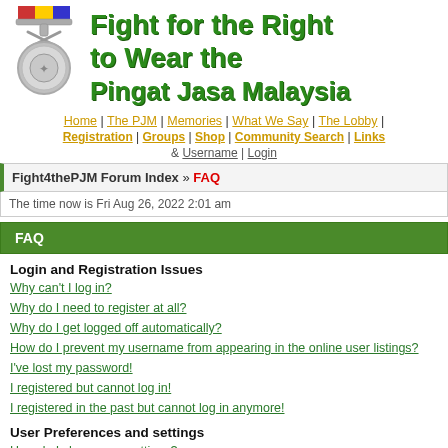[Figure (illustration): Silver medal with colorful ribbon (Pingat Jasa Malaysia medal)]
Fight for the Right to Wear the Pingat Jasa Malaysia
Home | The PJM | Memories | What We Say | The Lobby | Registration | Groups | Shop | Community Search | FAQ | Comments | Links | Username | Login
Fight4thePJM Forum Index » FAQ
The time now is Fri Aug 26, 2022 2:01 am
FAQ
Login and Registration Issues
Why can't I log in?
Why do I need to register at all?
Why do I get logged off automatically?
How do I prevent my username from appearing in the online user listings?
I've lost my password!
I registered but cannot log in!
I registered in the past but cannot log in anymore!
User Preferences and settings
How do I change my settings?
The times are not correct!
I changed the timezone and the time is still wrong!
My language is not in the list!
How do I show an image below my username?